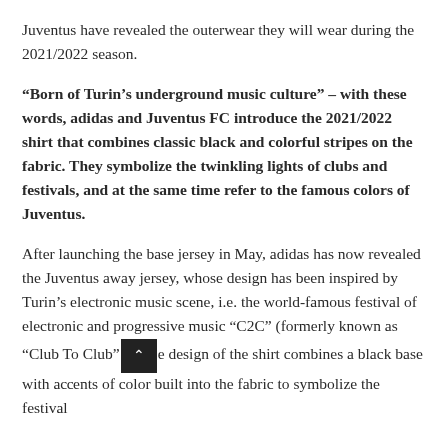Juventus have revealed the outerwear they will wear during the 2021/2022 season.
“Born of Turin’s underground music culture” – with these words, adidas and Juventus FC introduce the 2021/2022 shirt that combines classic black and colorful stripes on the fabric. They symbolize the twinkling lights of clubs and festivals, and at the same time refer to the famous colors of Juventus.
After launching the base jersey in May, adidas has now revealed the Juventus away jersey, whose design has been inspired by Turin’s electronic music scene, i.e. the world-famous festival of electronic and progressive music “C2C” (formerly known as “Club To Club”). The design of the shirt combines a black base with accents of color built into the fabric to symbolize the festival